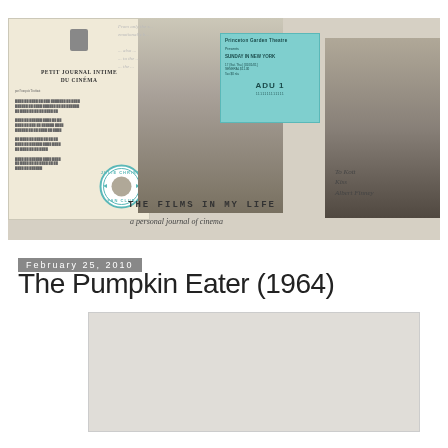[Figure (photo): Collage of vintage cinema memorabilia: a French film journal 'Petit Journal Intime du Cinema', a Julie Christie fan club badge, a black-and-white photo of a glamorous actress (possibly Bette Davis), a theater ticket from Princeton Garden Theatre for 'Sunday in New York', a black-and-white photo of an actor with handwritten autograph 'To Kott Kiss', faded background text, and text overlay reading 'THE FILMS IN MY LIFE / a personal journal of cinema']
February 25, 2010
The Pumpkin Eater (1964)
[Figure (photo): A mostly blank/faded photograph or image placeholder at the bottom of the page]